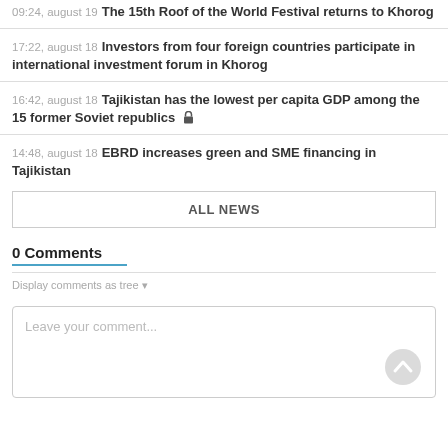09:24, august 19 The 15th Roof of the World Festival returns to Khorog
17:22, august 18 Investors from four foreign countries participate in international investment forum in Khorog
16:42, august 18 Tajikistan has the lowest per capita GDP among the 15 former Soviet republics 🔒
14:48, august 18 EBRD increases green and SME financing in Tajikistan
ALL NEWS
0 Comments
Display comments as tree ▾
Leave your comment...